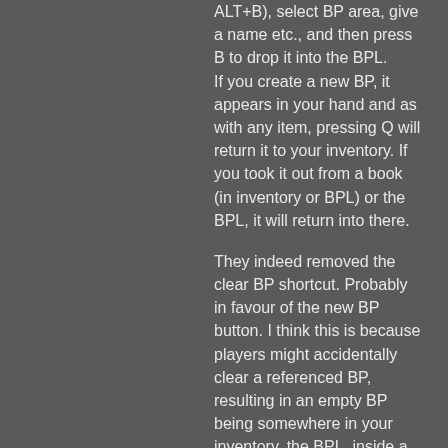ALT+B), select BP area, give a name etc., and then press B to drop it into the BPL. If you create a new BP, it appears in your hand and as with any item, pressing Q will return it to your inventory. If you took it out from a book (in inventory or BPL) or the BPL, it will return into there.
They indeed removed the clear BP shortcut. Probably in favour of the new BP button. I think this is because players might accidentally clear a referenced BP, resulting in an empty BP being somewhere in your inventory, the BPL, inside a book...
3. The auto-sorting got removed apparently. I too find this very annoying for large books. I get that people might want to have their own order, but a button to sort on name would be nice.
The BPL is the same as an inventory now. Pressing SHIFT-click and CTRL-click work for BPs and the BPL the same as they do for regular items and chests etc.
4. The title already auto-saves like the rest, but just having a textbox like the description would indeed be faster and consistent with the rest.